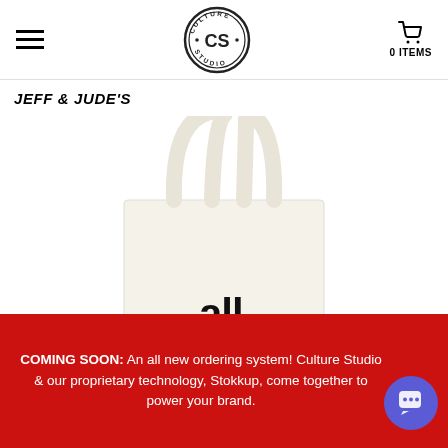Culture Studio — hamburger menu, logo, cart (0 ITEMS)
JEFF & JUDE'S
[Figure (photo): A cream/white canvas tote bag with the word 'all' printed in bold black lowercase letters on the front, shown against a white background.]
COMING SOON: An all new ordering system! Culture Studio & our proprietary technology, Stokkup, come together to power your brand.